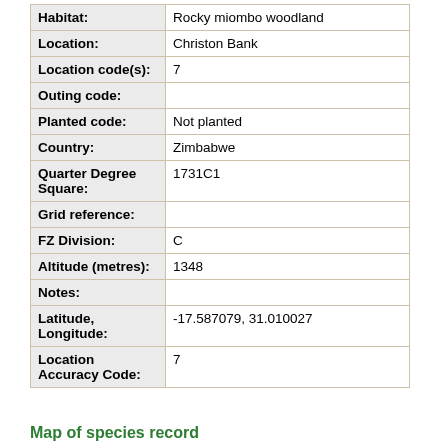| Field | Value |
| --- | --- |
| Habitat: | Rocky miombo woodland |
| Location: | Christon Bank |
| Location code(s): | 7 |
| Outing code: |  |
| Planted code: | Not planted |
| Country: | Zimbabwe |
| Quarter Degree Square: | 1731C1 |
| Grid reference: |  |
| FZ Division: | C |
| Altitude (metres): | 1348 |
| Notes: |  |
| Latitude, Longitude: | -17.587079, 31.010027 |
| Location Accuracy Code: | 7 |
Map of species record